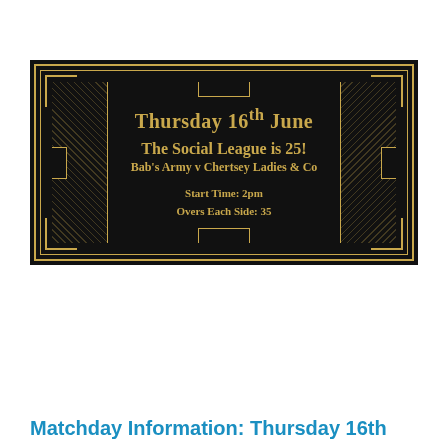[Figure (illustration): Art Deco style event ticket with black background and gold border. Text reads: Thursday 16th June / The Social League is 25! / Bab's Army v Chertsey Ladies & Co / Start Time: 2pm / Overs Each Side: 35]
Matchday Information: Thursday 16th